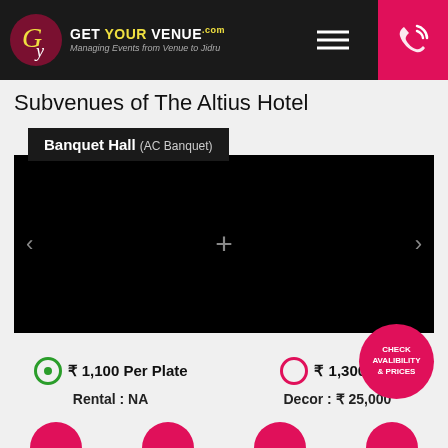[Figure (logo): Get Your Venue logo with circular maroon emblem and text, navigation menu icon, phone icon on pink background]
Subvenues of The Altius Hotel
Banquet Hall (AC Banquet)
[Figure (photo): Black image area with navigation arrows and a plus icon in the center, representing a venue photo carousel]
₹ 1,100 Per Plate
Rental : NA
₹ 1,300 Per
Decor : ₹ 25,000
[Figure (infographic): CHECK AVALIBILITY & PRICES button (pink circular badge) and bottom pink circle buttons]